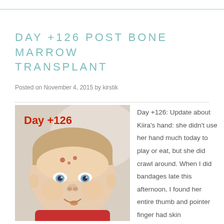DAY +126 POST BONE MARROW TRANSPLANT
Posted on November 4, 2015 by kirstik
[Figure (photo): Photo of a baby with skin lesions on forehead, with 'Day +126' text overlay in red]
Day +126: Update about Kiira's hand: she didn't use her hand much today to play or eat, but she did crawl around. When I did bandages late this afternoon, I found her entire thumb and pointer finger had skin floating/detached